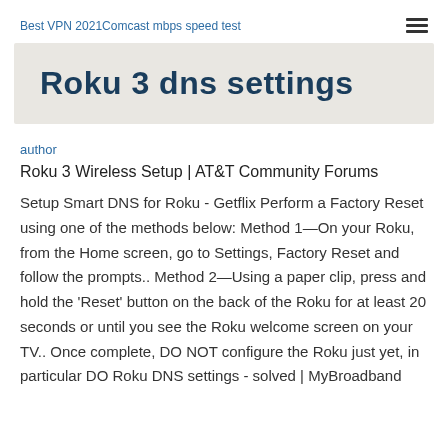Best VPN 2021Comcast mbps speed test
Roku 3 dns settings
author
Roku 3 Wireless Setup | AT&T Community Forums
Setup Smart DNS for Roku - Getflix Perform a Factory Reset using one of the methods below: Method 1—On your Roku, from the Home screen, go to Settings, Factory Reset and follow the prompts.. Method 2—Using a paper clip, press and hold the 'Reset' button on the back of the Roku for at least 20 seconds or until you see the Roku welcome screen on your TV.. Once complete, DO NOT configure the Roku just yet, in particular DO Roku DNS settings - solved | MyBroadband